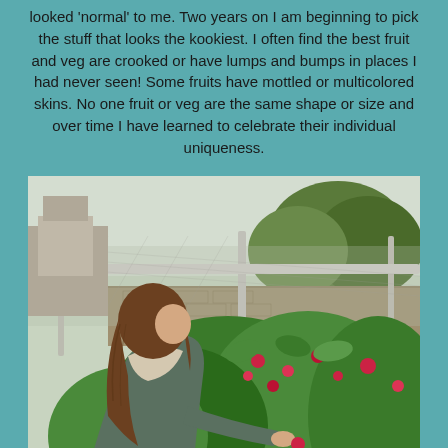looked 'normal' to me. Two years on I am beginning to pick the stuff that looks the kookiest. I often find the best fruit and veg are crooked or have lumps and bumps in places I had never seen! Some fruits have mottled or multicolored skins. No one fruit or veg are the same shape or size and over time I have learned to celebrate their individual uniqueness.
[Figure (photo): A young girl with long brown hair picking raspberries from a bush in a garden. Behind her is a chain-link fence, a stone wall, and trees. The scene appears to be an allotment or community garden on an overcast day.]